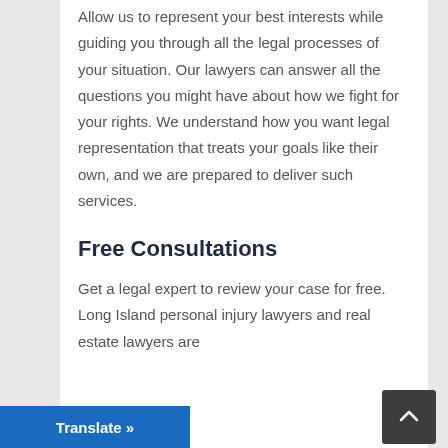interests while...
Allow us to represent your best interests while guiding you through all the legal processes of your situation. Our lawyers can answer all the questions you might have about how we fight for your rights. We understand how you want legal representation that treats your goals like their own, and we are prepared to deliver such services.
Free Consultations
Get a legal expert to review your case for free. Long Island personal injury lawyers and real estate lawyers are